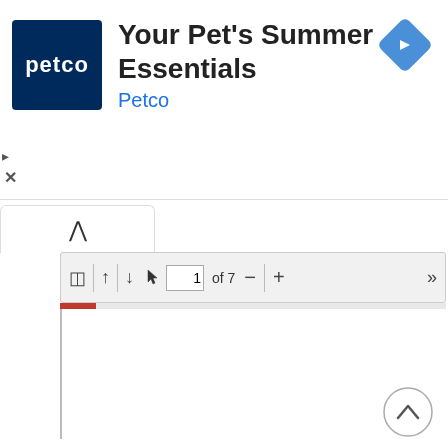[Figure (screenshot): Petco advertisement banner showing 'Your Pet's Summer Essentials' with Petco logo (white text on dark blue background), brand name in blue, and a blue navigation/directions diamond icon on the right. Play and close icons on the left edge.]
[Figure (screenshot): Browser UI element: a white rounded tab with an upward chevron (^) indicating a collapsed panel]
[Figure (screenshot): PDF viewer toolbar showing: sidebar toggle icon, up arrow, separator, down arrow, cursor/zoom icon, page input field showing '1', 'of 7' text, separator, minus button, separator, plus button, spacer, double right-arrow navigation button. Below the toolbar is an orange-red progress bar segment on the left. Below that is a blank white PDF page area.]
[Figure (screenshot): Circular scroll-to-top button with upward chevron arrow, positioned at bottom right of page.]